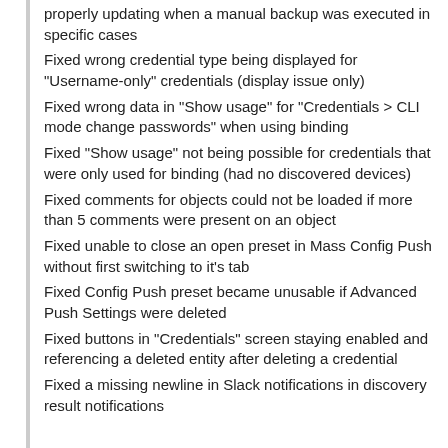properly updating when a manual backup was executed in specific cases
Fixed wrong credential type being displayed for "Username-only" credentials (display issue only)
Fixed wrong data in "Show usage" for "Credentials > CLI mode change passwords" when using binding
Fixed "Show usage" not being possible for credentials that were only used for binding (had no discovered devices)
Fixed comments for objects could not be loaded if more than 5 comments were present on an object
Fixed unable to close an open preset in Mass Config Push without first switching to it's tab
Fixed Config Push preset became unusable if Advanced Push Settings were deleted
Fixed buttons in "Credentials" screen staying enabled and referencing a deleted entity after deleting a credential
Fixed a missing newline in Slack notifications in discovery result notifications